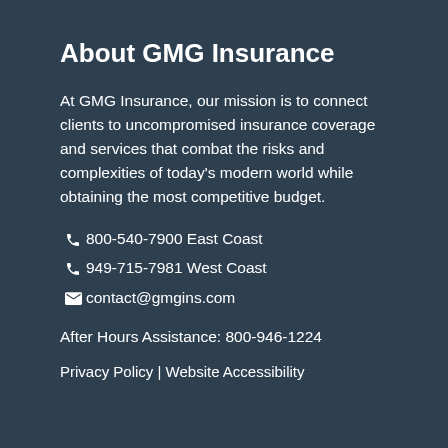About GMG Insurance
At GMG Insurance, our mission is to connect clients to uncompromised insurance coverage and services that combat the risks and complexities of today's modern world while obtaining the most competitive budget.
📞 800-540-7900 East Coast
📞 949-715-7981 West Coast
✉ contact@gmgins.com
After Hours Assistance: 800-946-1224
Privacy Policy | Website Accessibility